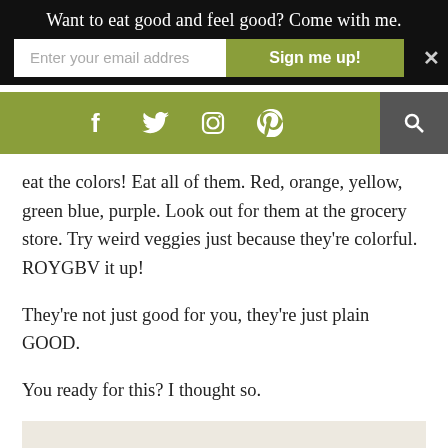Want to eat good and feel good? Come with me.
eat the colors! Eat all of them. Red, orange, yellow, green blue, purple. Look out for them at the grocery store. Try weird veggies just because they're colorful. ROYGBV it up!
They're not just good for you, they're just plain GOOD.
You ready for this? I thought so.
[Figure (photo): Top-down view of two colorful food dishes on a light surface; left dish has a colorful salad with greens and toppings, right dish has vibrant pink/magenta colored food. A fork is visible on the left side.]